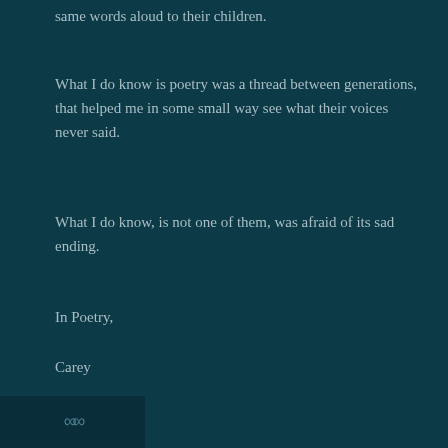same words aloud to their children.
What I do know is poetry was a thread between generations, that helped me in some small way see what their voices never said.
What I do know, is not one of them, was afraid of its sad ending.
In Poetry,
Carey